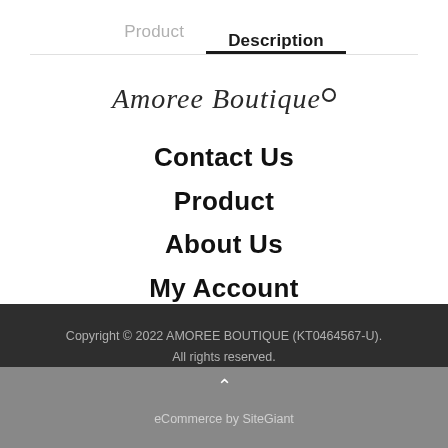Product   Description
[Figure (logo): Amoree Boutique cursive script logo with a small circle above the last letter]
Contact Us
Product
About Us
My Account
Copyright © 2022 AMOREE BOUTIQUE (KT0464567-U). All rights reserved. eCommerce by SiteGiant